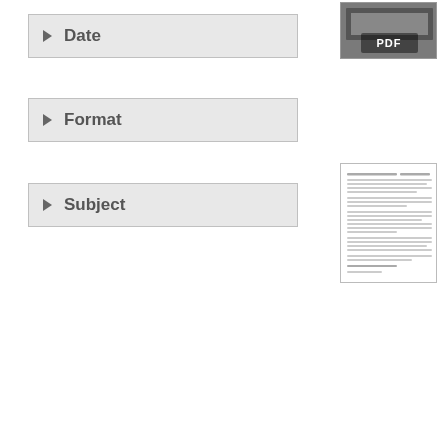Date
Format
Subject
[Figure (screenshot): PDF thumbnail showing a photo with PDF label overlay]
Preliminary Catalog of Birds of North Ca... With Notes on So... Species
[Figure (screenshot): Document text preview thumbnail showing lines of text]
[Figure (screenshot): Audio File icon thumbnail with globe graphic and Audio File label]
[Figure (screenshot): Document text preview thumbnail at bottom of page]